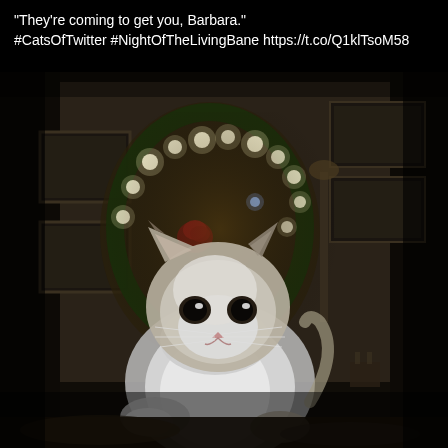"They're coming to get you, Barbara." #CatsOfTwitter #NightOfTheLivingBane https://t.co/Q1klTsoM58
[Figure (photo): A fluffy white and grey cat sitting in a dimly lit room, with a glowing wreath decorated with fairy lights and a red rose behind it. Framed pictures visible on the wall to the right. The cat is posed on what appears to be a patterned blanket, looking directly at the camera with wide eyes.]